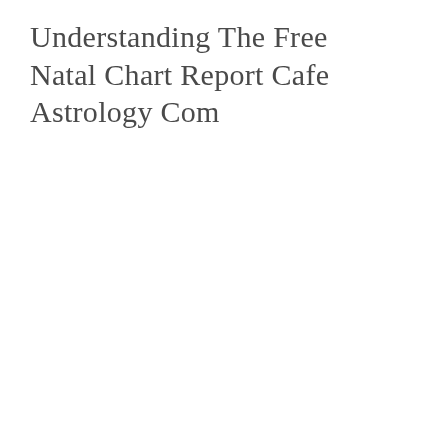Understanding The Free Natal Chart Report Cafe Astrology Com